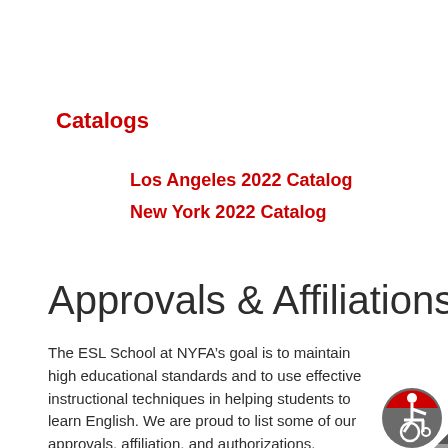Catalogs
Los Angeles 2022 Catalog
New York 2022 Catalog
Approvals & Affiliations
The ESL School at NYFA’s goal is to maintain high educational standards and to use effective instructional techniques in helping students to learn English. We are proud to list some of our approvals, affiliation, and authorizations.
[Figure (logo): Accessibility icon: grey circle with red arc on top and white wheelchair user symbol]